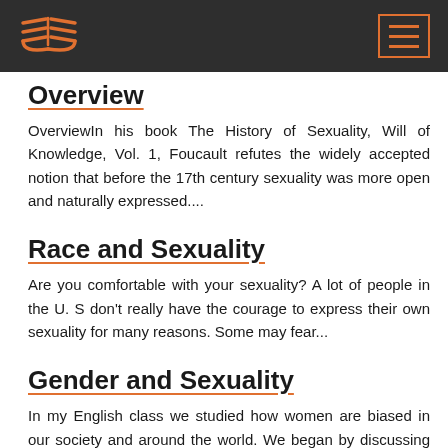Overview
OverviewIn his book The History of Sexuality, Will of Knowledge, Vol. 1, Foucault refutes the widely accepted notion that before the 17th century sexuality was more open and naturally expressed....
Race and Sexuality
Are you comfortable with your sexuality? A lot of people in the U. S don't really have the courage to express their own sexuality for many reasons. Some may fear...
Gender and Sexuality
In my English class we studied how women are biased in our society and around the world. We began by discussing how women are treated brutally by men at office,...